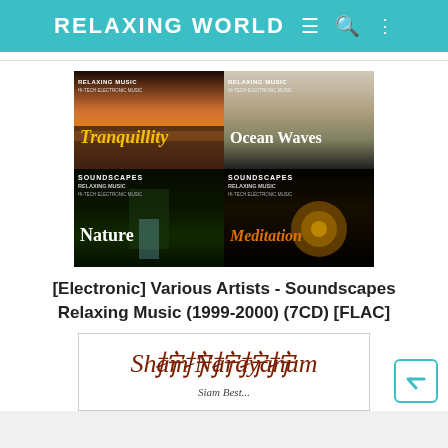RELAXING WORLD
[Figure (photo): Four album covers in a 2x2 grid: Tranquillity (top-left, sunset over water), Ocean Waves (top-right, ocean scene), Nature (bottom-left, dark waterfall), Meditation (bottom-right, golden circles). All from Soundscapes Relaxing Music series with Hi-Tech Electronic Music label.]
[Electronic] Various Artists - Soundscapes Relaxing Music (1999-2000) (7CD) [FLAC]
[Figure (photo): Partial view of another album or item with stylized script text and partially visible subtitle text.]